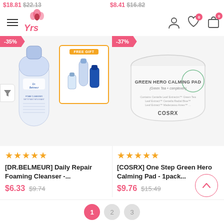$18.81 $22.13  $8.41 $16.82
[Figure (logo): YRS brand logo with rose icon]
[Figure (illustration): DR.BELMEUR Foam Cleanser tube product with free gift set box]
[Figure (illustration): COSRX One Step Green Hero Calming Pad container]
★★★★★
[DR.BELMEUR] Daily Repair Foaming Cleanser -...
$6.33  $9.74
★★★★★
[COSRX] One Step Green Hero Calming Pad - 1pack...
$9.76  $15.49